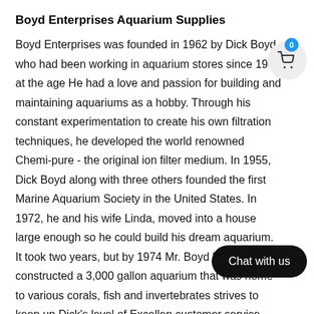Boyd Enterprises Aquarium Supplies
Boyd Enterprises was founded in 1962 by Dick Boyd, who had been working in aquarium stores since 1947 at the age He had a love and passion for building and maintaining aquariums as a hobby. Through his constant experimentation to create his own filtration techniques, he developed the world renowned Chemi-pure - the original ion filter medium. In 1955, Dick Boyd along with three others founded the first Marine Aquarium Society in the United States. In 1972, he and his wife Linda, moved into a house large enough so he could build his dream aquarium. It took two years, but by 1974 Mr. Boyd had constructed a 3,000 gallon aquarium that was home to various corals, fish and invertebrates strives to keep up Dick's level of Excellen customer service.